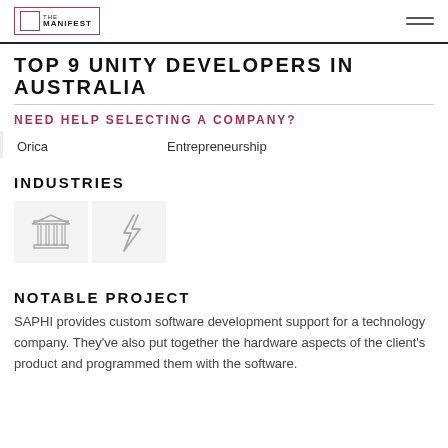THE MANIFEST
TOP 9 UNITY DEVELOPERS IN AUSTRALIA
NEED HELP SELECTING A COMPANY?
Orica
Entrepreneurship
INDUSTRIES
[Figure (illustration): Two industry icons: a building/institution icon and a lightning bolt icon, displayed in grey boxes]
NOTABLE PROJECT
SAPHI provides custom software development support for a technology company. They've also put together the hardware aspects of the client's product and programmed them with the software.